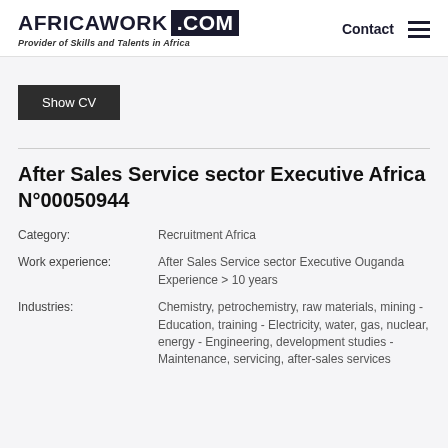AFRICAWORK .COM — Provider of Skills and Talents in Africa — Contact
Show CV
After Sales Service sector Executive Africa N°00050944
Category: Recruitment Africa
Work experience: After Sales Service sector Executive Ouganda Experience > 10 years
Industries: Chemistry, petrochemistry, raw materials, mining - Education, training - Electricity, water, gas, nuclear, energy - Engineering, development studies - Maintenance, servicing, after-sales services